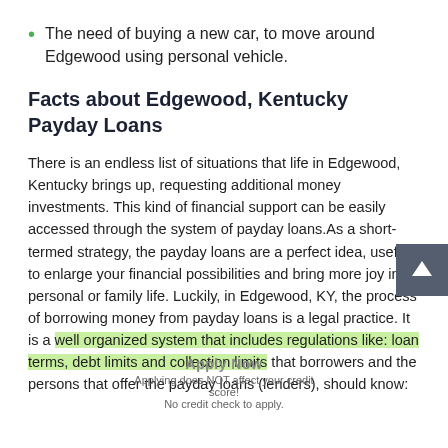The need of buying a new car, to move around Edgewood using personal vehicle.
Facts about Edgewood, Kentucky Payday Loans
There is an endless list of situations that life in Edgewood, Kentucky brings up, requesting additional money investments. This kind of financial support can be easily accessed through the system of payday loans.As a short-termed strategy, the payday loans are a perfect idea, useful to enlarge your financial possibilities and bring more joy in personal or family life. Luckily, in Edgewood, KY, the process of borrowing money from payday loans is a legal practice. It is a well organized system that includes regulations like: loan terms, debt limits and collection limits that borrowers and the persons that offer the payday loans (lenders), should know: